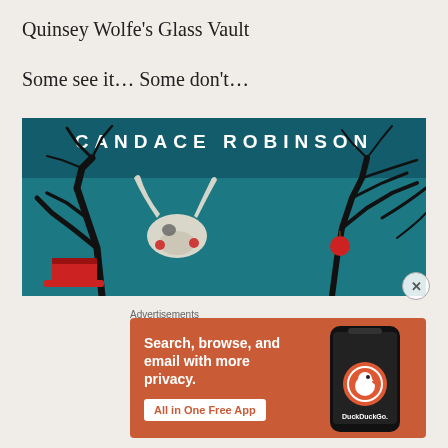Quinsey Wolfe's Glass Vault
Some see it… Some don't…
[Figure (illustration): Book cover for Candace Robinson featuring dark teal background with bare black trees, a white animal skull with red accents, a red top hat, and a red apple on a branch. Author name CANDACE ROBINSON in white text at top.]
Advertisements
[Figure (screenshot): DuckDuckGo advertisement with orange background. Text reads 'Search, browse, and email with more privacy. All in One Free App' with DuckDuckGo logo and phone mockup on right side.]